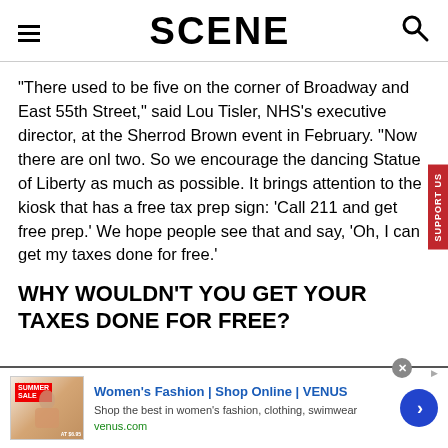SCENE
"There used to be five on the corner of Broadway and East 55th Street," said Lou Tisler, NHS's executive director, at the Sherrod Brown event in February. "Now there are only two. So we encourage the dancing Statue of Liberty as much as possible. It brings attention to the kiosk that has a free tax prep sign: 'Call 211 and get free prep.' We hope people see that and say, 'Oh, I can get my taxes done for free.'
WHY WOULDN'T YOU GET YOUR TAXES DONE FOR FREE?
[Figure (other): Advertisement banner for Women's Fashion at VENUS - Shop Online with image of women's clothing sale, title 'Women's Fashion | Shop Online | VENUS', subtitle 'Shop the best in women's fashion, clothing, swimwear', url 'venus.com']